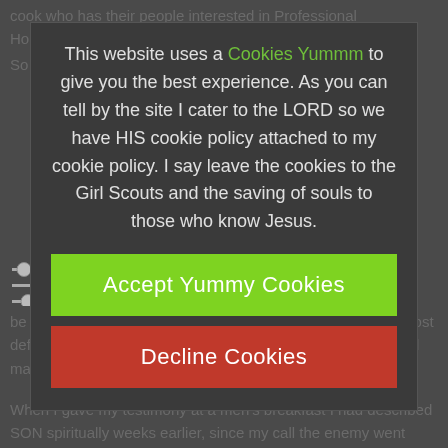cook who has their people interested in Professional Homemakers. So they have here.
This website uses a Cookies Yummm to give you the best experience.  As you can tell by the site I cater to the LORD so we have HIS cookie policy attached to my cookie policy.  I say leave the cookies to the Girl Scouts and the saving of souls to those who know Jesus.
Accept Yummy Cookies
Decline Cookies
People they have here. be made into a vegetarian.  A leopard apart from Grace will most definitely eat the lamb and putting the animal in the comer will make face him some of you fighting.
When I gave my testimony at a men's breakfast I had described SON spiritually weeks earlier, since my call the enemy went after my family because of what Father gave me. My adoptive brother become well at more serious situations.